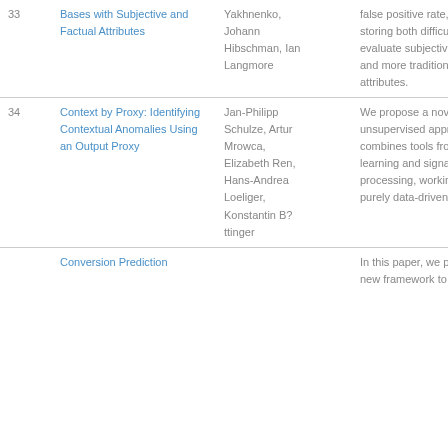| # | Title | Authors | Abstract |
| --- | --- | --- | --- |
| 33 | Bases with Subjective and Factual Attributes | Yakhnenko, Johann Hibschman, Ian Langmore | false positive rate, despite storing both difficult-to-evaluate subjective attributes and more traditional factual attributes. |
| 34 | Context by Proxy: Identifying Contextual Anomalies Using an Output Proxy | Jan-Philipp Schulze, Artur Mrowca, Elizabeth Ren, Hans-Andrea Loeliger, Konstantin B?ttinger | We propose a novel unsupervised approach that combines tools from deep learning and signal processing, working in a purely data-driven way. |
|  | Conversion Prediction |  | In this paper, we propose a new framework to support |